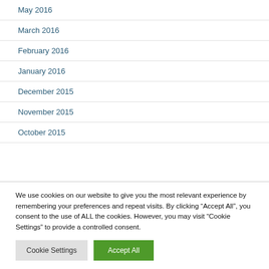May 2016
March 2016
February 2016
January 2016
December 2015
November 2015
October 2015
We use cookies on our website to give you the most relevant experience by remembering your preferences and repeat visits. By clicking “Accept All”, you consent to the use of ALL the cookies. However, you may visit "Cookie Settings" to provide a controlled consent.
Cookie Settings | Accept All